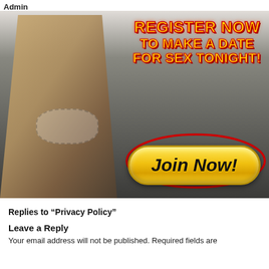Admin
[Figure (advertisement): Adult dating website advertisement banner with a woman in a bikini on the left and bold red/yellow text 'REGISTER NOW TO MAKE A DATE FOR SEX TONIGHT!' on the right, with a large yellow 'Join Now!' button and a red oval border around the button area.]
Replies to “Privacy Policy”
Leave a Reply
Your email address will not be published. Required fields are